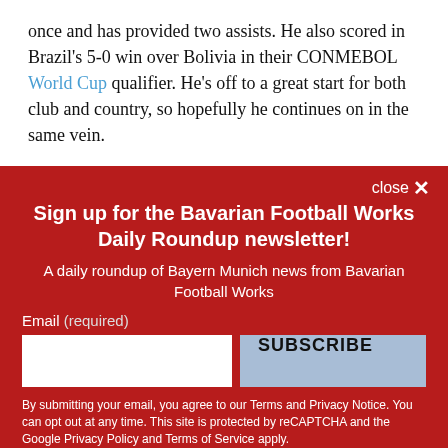once and has provided two assists. He also scored in Brazil's 5-0 win over Bolivia in their CONMEBOL World Cup qualifier. He's off to a great start for both club and country, so hopefully he continues on in the same vein.
close ×
Sign up for the Bavarian Football Works Daily Roundup newsletter!
A daily roundup of Bayern Munich news from Bavarian Football Works
Email (required)
SUBSCRIBE
By submitting your email, you agree to our Terms and Privacy Notice. You can opt out at any time. This site is protected by reCAPTCHA and the Google Privacy Policy and Terms of Service apply.